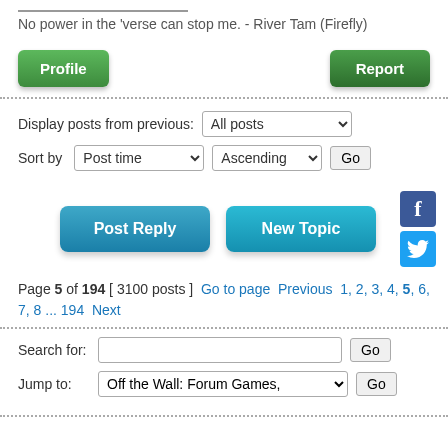No power in the 'verse can stop me. - River Tam (Firefly)
[Figure (screenshot): Profile and Report buttons (green), Post Reply and New Topic buttons (blue), social media icons (Facebook, Twitter), filter dropdowns, search bar, and pagination controls for a forum page.]
Display posts from previous: All posts
Sort by  Post time  Ascending  Go
Page 5 of 194 [ 3100 posts ]  Go to page  Previous  1, 2, 3, 4, 5, 6, 7, 8 ... 194  Next
Search for:   Go
Jump to:  Off the Wall: Forum Games,  Go